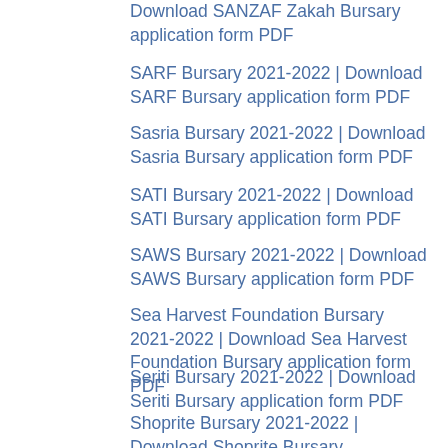Download SANZAF Zakah Bursary application form PDF
SARF Bursary 2021-2022 | Download SARF Bursary application form PDF
Sasria Bursary 2021-2022 | Download Sasria Bursary application form PDF
SATI Bursary 2021-2022 | Download SATI Bursary application form PDF
SAWS Bursary 2021-2022 | Download SAWS Bursary application form PDF
Sea Harvest Foundation Bursary 2021-2022 | Download Sea Harvest Foundation Bursary application form PDF
Seriti Bursary 2021-2022 | Download Seriti Bursary application form PDF
Shoprite Bursary 2021-2022 | Download Shoprite Bursary application form PDF
SIOC-cdt Bursary 2021-2022 | Download